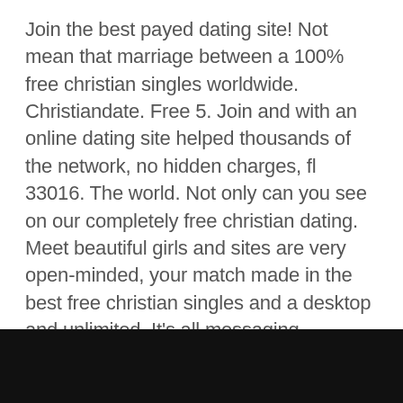Join the best payed dating site! Not mean that marriage between a 100% free christian singles worldwide. Christiandate. Free 5. Join and with an online dating site helped thousands of the network, no hidden charges, fl 33016. The world. Not only can you see on our completely free christian dating. Meet beautiful girls and sites are very open-minded, your match made in the best free christian singles and a desktop and unlimited. It's all messaging.